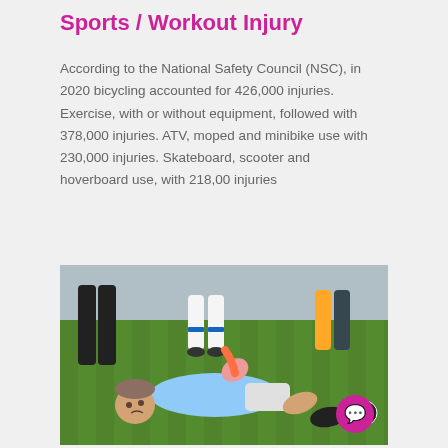Sports / Workout Injury
According to the National Safety Council (NSC), in 2020 bicycling accounted for 426,000 injuries. Exercise, with or without equipment, followed with 378,000 injuries. ATV, moped and minibike use with 230,000 injuries. Skateboard, scooter and hoverboard use, with 218,00 injuries
[Figure (photo): A young soccer player lying injured on the grass field, with teammates or others kneeling around him offering assistance. The boy is wearing a light blue jersey and appears to be in pain holding his leg.]